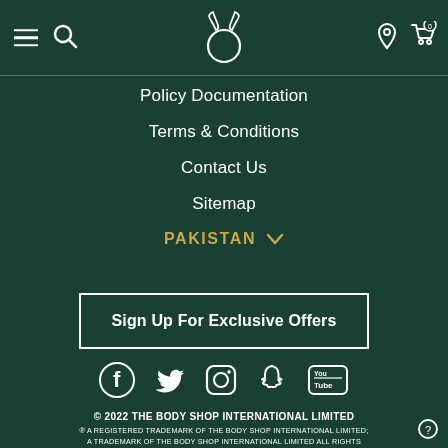The Body Shop header navigation with menu, search, logo, location, and cart icons
Policy Documentation
Terms & Conditions
Contact Us
Sitemap
PAKISTAN
Sign Up For Exclusive Offers
[Figure (infographic): Social media icons: Facebook, Twitter, Instagram, Snapchat, YouTube]
© 2022 THE BODY SHOP INTERNATIONAL LIMITED
® A REGISTERED TRADEMARK OF THE BODY SHOP INTERNATIONAL LIMITED; A TRADEMARK OF THE BODY SHOP INTERNATIONAL LIMITED ALL RIGHTS RESERVED. A THE BODY SHOP FRANCHISE OWNED AND OPERATED UNDER LICENSE BY COSMETICS TRADING COMPANY (PRIVATE) LIMITED.